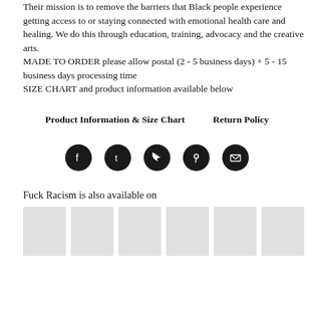Their mission is to remove the barriers that Black people experience getting access to or staying connected with emotional health care and healing. We do this through education, training, advocacy and the creative arts.
MADE TO ORDER please allow postal (2 - 5 business days) + 5 - 15 business days processing time
SIZE CHART and product information available below
Product Information & Size Chart    Return Policy
[Figure (infographic): Five social media icon circles (Facebook, Tumblr, Twitter, Pinterest, Email) in dark/black circular buttons arranged horizontally]
Fuck Racism is also available on
[Figure (photo): A row of product thumbnail images (grey placeholder boxes)]